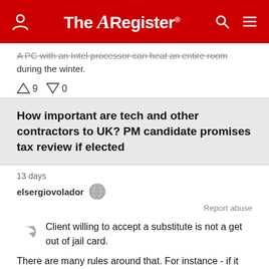The Register
A PC with an Intel processor can heat an entire room during the winter.
↑9  ↓0
How important are tech and other contractors to UK? PM candidate promises tax review if elected
13 days
elsergiovolador
Report abuse
Client willing to accept a substitute is not a get out of jail card.
There are many rules around that. For instance - if it was possible for the client to hire the substitute directly (which is almost always possible - a matter of money) - then the substitution does not count